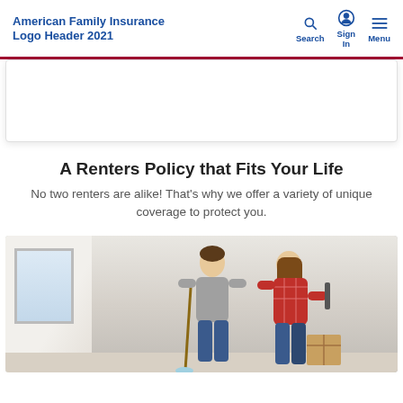American Family Insurance Logo Header 2021
A Renters Policy that Fits Your Life
No two renters are alike! That's why we offer a variety of unique coverage to protect you.
[Figure (photo): A young man and woman moving into an apartment, with boxes and a mop, in a bright room with a window.]